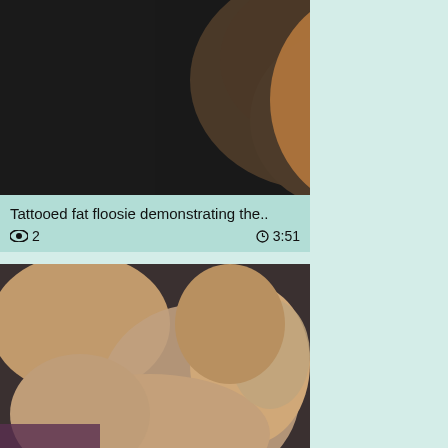[Figure (photo): Thumbnail of tattooed person, video card 1]
Tattooed fat floosie demonstrating the..
2 views, 3:51 duration
[Figure (photo): Thumbnail of woman on dark couch, video card 2]
Mischievous stunner Jada and her..
33 views, 0:00 duration